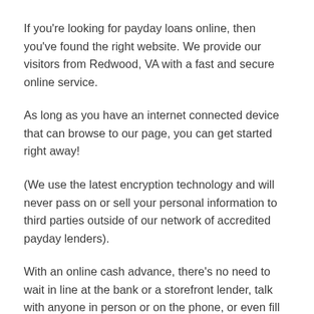If you're looking for payday loans online, then you've found the right website. We provide our visitors from Redwood, VA with a fast and secure online service.
As long as you have an internet connected device that can browse to our page, you can get started right away!
(We use the latest encryption technology and will never pass on or sell your personal information to third parties outside of our network of accredited payday lenders).
With an online cash advance, there's no need to wait in line at the bank or a storefront lender, talk with anyone in person or on the phone, or even fill out any physical paperwork. Since most of the documentation our lenders require is now available digitally (e.g. pdf statements), all you have to do is attach them to your online lender application – no faxing